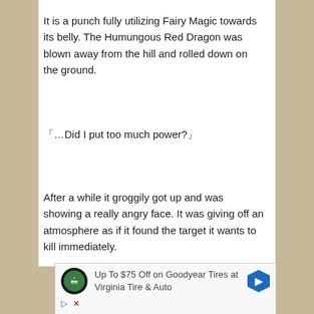It is a punch fully utilizing Fairy Magic towards its belly. The Humungous Red Dragon was blown away from the hill and rolled down on the ground.
「…Did I put too much power?」
After a while it groggily got up and was showing a really angry face. It was giving off an atmosphere as if it found the target it wants to kill immediately.
[Figure (other): Advertisement banner for Virginia Tire & Auto Goodyear tires promotion: Up To $75 Off on Goodyear Tires at Virginia Tire & Auto]